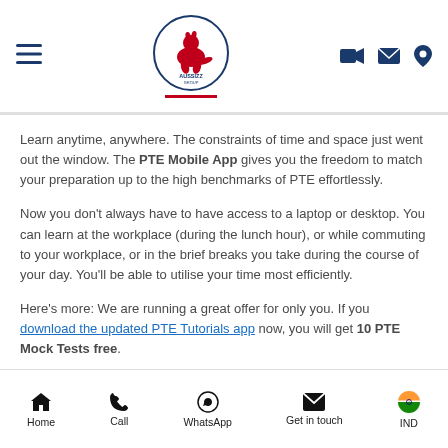Aussizz Group navigation bar with logo, hamburger menu, and icons
Learn anytime, anywhere. The constraints of time and space just went out the window. The PTE Mobile App gives you the freedom to match your preparation up to the high benchmarks of PTE effortlessly.
Now you don't always have to have access to a laptop or desktop. You can learn at the workplace (during the lunch hour), or while commuting to your workplace, or in the brief breaks you take during the course of your day. You'll be able to utilise your time most efficiently.
Here's more: We are running a great offer for only you. If you download the updated PTE Tutorials app now, you will get 10 PTE Mock Tests free.
How To Redeem The Offer? It's straightforward.
Home | Call | WhatsApp | Get in touch | IND